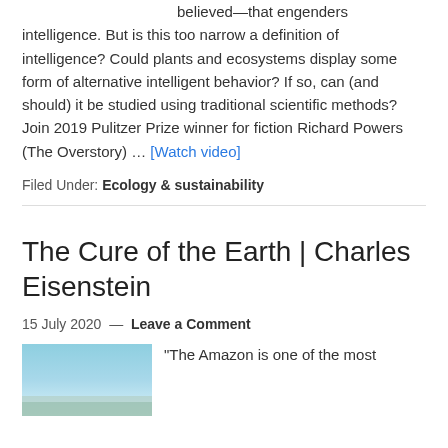believed—that engenders intelligence. But is this too narrow a definition of intelligence? Could plants and ecosystems display some form of alternative intelligent behavior? If so, can (and should) it be studied using traditional scientific methods? Join 2019 Pulitzer Prize winner for fiction Richard Powers (The Overstory) … [Watch video]
Filed Under: Ecology & sustainability
The Cure of the Earth | Charles Eisenstein
15 July 2020 — Leave a Comment
[Figure (photo): Thumbnail image showing an aerial or landscape view with blue sky and water tones]
"The Amazon is one of the most